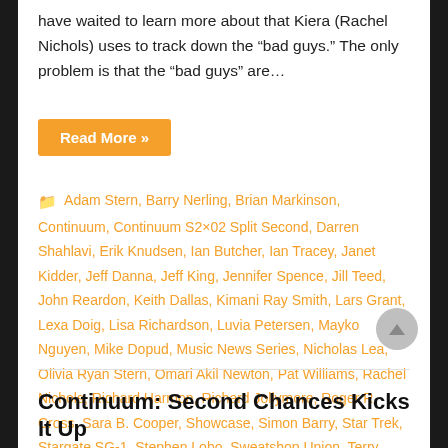have waited to learn more about that Kiera (Rachel Nichols) uses to track down the "bad guys." The only problem is that the "bad guys" are…
Read More »
Adam Stern, Barry Nerling, Brian Markinson, Continuum, Continuum S2×02 Split Second, Darren Shahlavi, Erik Knudsen, Ian Butcher, Ian Tracey, Janet Kidder, Jeff Danna, Jeff King, Jennifer Spence, Jill Teed, John Reardon, Keith Dallas, Kimani Ray Smith, Lars Grant, Lexa Doig, Lisa Richardson, Luvia Petersen, Mayko Nguyen, Mike Dopud, Music News Series, Nicholas Lea, Olivia Ryan Stern, Omari Akil Newton, Pat Williams, Rachel Nichols, Richard Harmon, Richard Jollymore, Roger R. Cross, Sara B. Cooper, Showcase, Simon Barry, Star Trek, Stargate SG-1, Stephen Lobo, Sweatshop Union, Terry Chen, Tony Amendola, Victor Webster, William B. Davis
Continuum: Second Chances Kicks It Up…